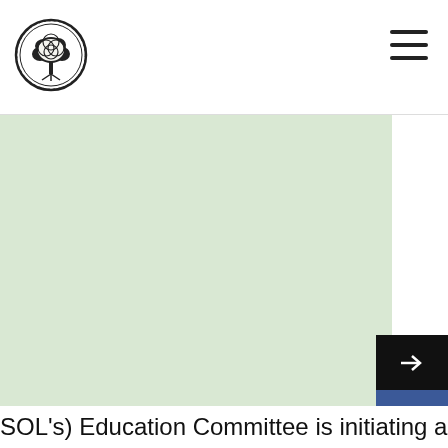[Figure (logo): Circular organizational seal/logo with tree illustration in center and text around the border]
[Figure (illustration): Hamburger menu icon — three horizontal lines]
[Figure (illustration): Large light green background area (hero/banner image area)]
[Figure (illustration): Social media sidebar with arrow button (dark), Facebook button (blue), and YouTube button (red)]
SOL's) Education Committee is initiating a Zoomcast